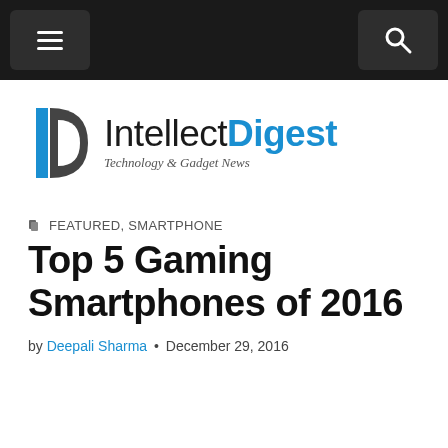Navigation bar with menu and search buttons
[Figure (logo): Intellect Digest logo with stylized D icon in blue/grey and text 'IntellectDigest Technology & Gadget News']
FEATURED, SMARTPHONE
Top 5 Gaming Smartphones of 2016
by Deepali Sharma • December 29, 2016